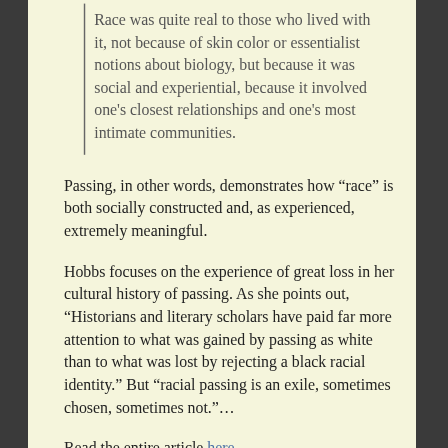Race was quite real to those who lived with it, not because of skin color or essentialist notions about biology, but because it was social and experiential, because it involved one's closest relationships and one's most intimate communities.
Passing, in other words, demonstrates how "race" is both socially constructed and, as experienced, extremely meaningful.
Hobbs focuses on the experience of great loss in her cultural history of passing. As she points out, "Historians and literary scholars have paid far more attention to what was gained by passing as white than to what was lost by rejecting a black racial identity." But "racial passing is an exile, sometimes chosen, sometimes not."…
Read the entire article here.
Tags: Allyson Hobbs, Barbara Fields, Barbara J. Fields, Jess Row, John Howard, Karen E. Fields, Karen Fields, ...